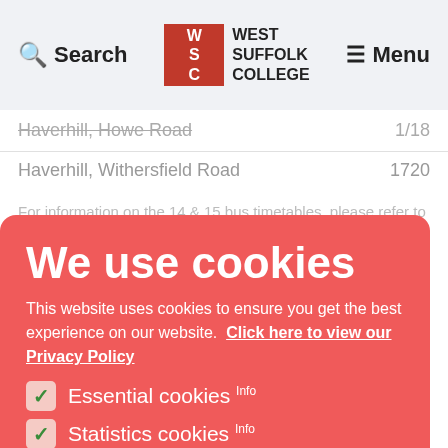Search | West Suffolk College | Menu
Haverhill, Howe Road   1/18
Haverhill, Withersfield Road   1720
We use cookies
This website uses cookies to ensure you get the best experience on our website. Click here to view our Privacy Policy
Essential cookies Info
Statistics cookies Info
For information on the 14 & 15 bus timetables, please refer to the bus operator's website - www.stephensonsolessex.com
B
If you are on a low household income, you can apply to the College for financial support with the cost of travel
Accept these cookies
Our app